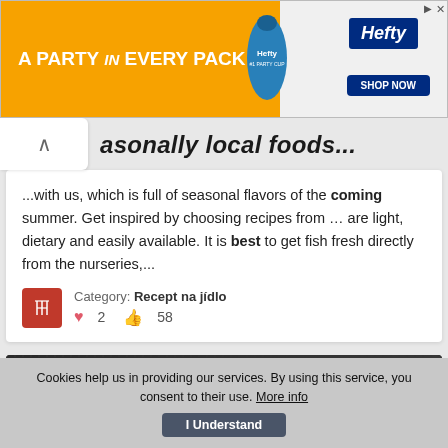[Figure (illustration): Orange Hefty ad banner: 'A PARTY in EVERY PACK' with Hefty party cup image and SHOP NOW button on blue background]
asonally local foods...
...with us, which is full of seasonal flavors of the coming summer. Get inspired by choosing recipes from … are light, dietary and easily available. It is best to get fish fresh directly from the nurseries,...
Category: Recept na jídlo
♥ 2  👍 58
[Figure (photo): Food photo: grilled or baked fish/seafood dish on a white rectangular plate on a dark wooden surface]
Cookies help us in providing our services. By using this service, you consent to their use. More info   I Understand